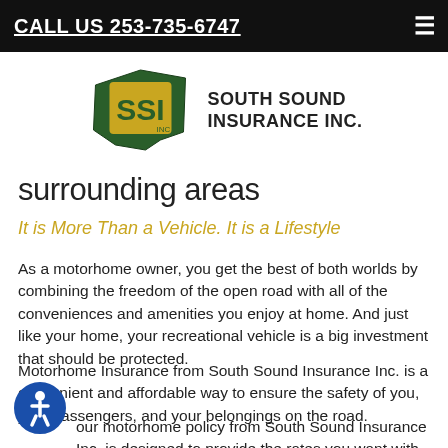CALL US 253-735-6747
[Figure (logo): South Sound Insurance Inc. logo with Washington state outline and SSI letters in gold on dark green, company name in bold black text]
surrounding areas
It is More Than a Vehicle. It is a Lifestyle
As a motorhome owner, you get the best of both worlds by combining the freedom of the open road with all of the conveniences and amenities you enjoy at home. And just like your home, your recreational vehicle is a big investment that should be protected.
Motorhome Insurance from South Sound Insurance Inc. is a convenient and affordable way to ensure the safety of you, your passengers, and your belongings on the road.
our motorhome policy from South Sound Insurance Inc. is designed to provide the rates you want with the coverage